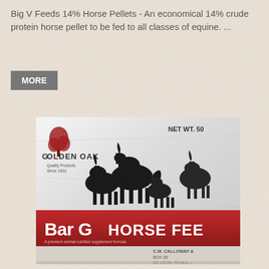Big V Feeds 14% Horse Pellets - An economical 14% crude protein horse pellet to be fed to all classes of equine. ...
[Figure (other): A button labeled MORE in white text on a gray background]
[Figure (photo): Photo of a Bar G Horse Feed bag (Golden Oak brand) showing silhouettes of horses on a white/gray background with a dark red banner reading 'Bar G HORSE FEED' and text 'C.M. Calloway & ..., Box 20, De Leon, Texas...' Net Wt. 50 shown at top right.]